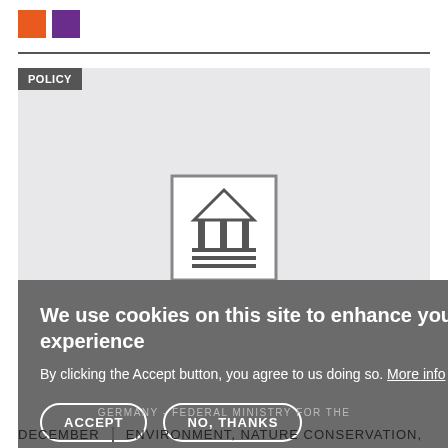[Figure (logo): Two colored squares logo: orange square and purple square side by side]
[Figure (screenshot): Policy section with light gray background showing a building/institution icon (square with triangular roof and columns), overlaid with a cookie consent dialog box on a dark gray background. Dialog contains title 'We use cookies on this site to enhance your user experience', body text 'By clicking the Accept button, you agree to us doing so. More info', and two buttons: ACCEPT and NO, THANKS]
GERMANY - FEDERAL MINISTRY FOR THE
DECEMBER | ENVIRONMENT, NATURE CONSERVATION,